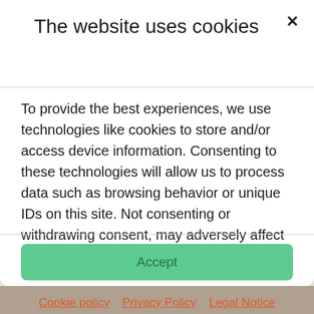The website uses cookies
To provide the best experiences, we use technologies like cookies to store and/or access device information. Consenting to these technologies will allow us to process data such as browsing behavior or unique IDs on this site. Not consenting or withdrawing consent, may adversely affect certain features and functions.
Accept
Cookie policy  Privacy Policy  Legal Notice